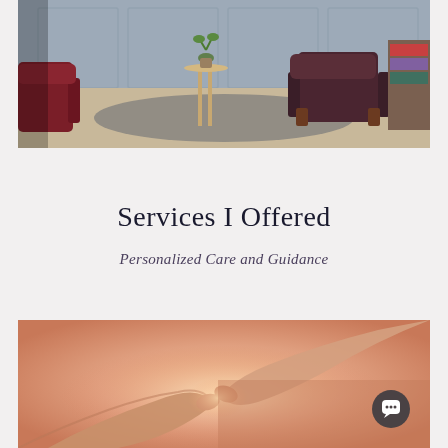[Figure (photo): A cozy therapy office or waiting room with two dark red/maroon armchairs facing each other, a small gold side table with a vase of greenery, and a grey rug on a hardwood floor. The walls are a muted blue-grey with paneling.]
Services I Offered
Personalized Care and Guidance
[Figure (photo): Two hands touching fingertips together forming a heart shape, lit with warm pink/peach light on a soft blurred background.]